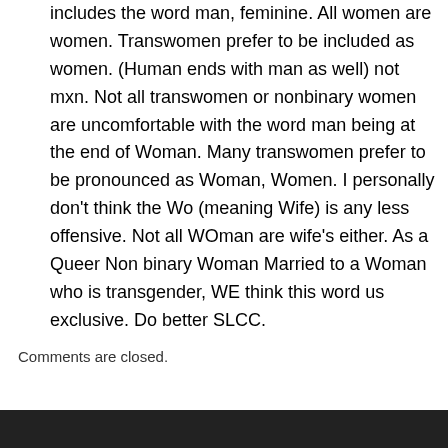includes the word man, feminine. All women are women. Transwomen prefer to be included as women. (Human ends with man as well) not mxn. Not all transwomen or nonbinary women are uncomfortable with the word man being at the end of Woman. Many transwomen prefer to be pronounced as Woman, Women. I personally don't think the Wo (meaning Wife) is any less offensive. Not all WOman are wife's either. As a Queer Non binary Woman Married to a Woman who is transgender, WE think this word us exclusive. Do better SLCC.
Comments are closed.